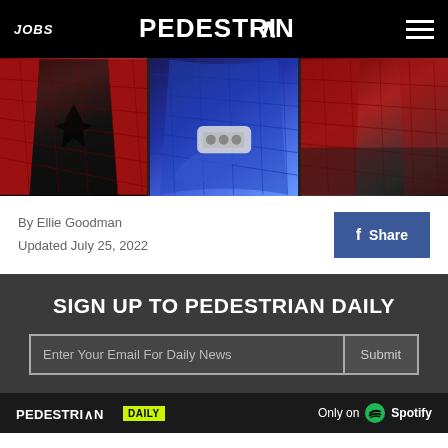JOBS | PEDESTRIAN | (hamburger menu)
[Figure (photo): Three Spider-Man suit panels side by side — left shows red/black spider suit torso, center shows blue arm with web shooter, right shows red/dark spider suit torso]
By Ellie Goodman
Updated July 25, 2022
Share
SIGN UP TO PEDESTRIAN DAILY
Enter Your Email For Daily News
Submit
PEDESTRIAN DAILY — Only on Spotify